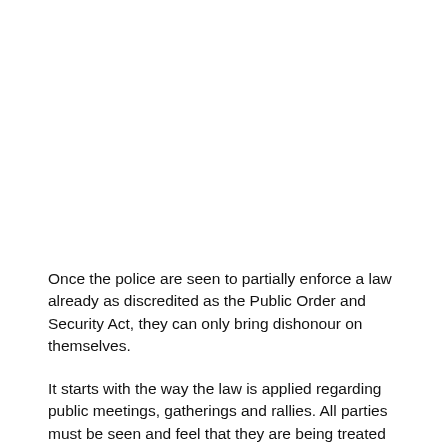Once the police are seen to partially enforce a law already as discredited as the Public Order and Security Act, they can only bring dishonour on themselves.
It starts with the way the law is applied regarding public meetings, gatherings and rallies. All parties must be seen and feel that they are being treated equally. The conduct of the police must be beyond reproach, a tall order in such a charged atmosphere but one that must be executed with